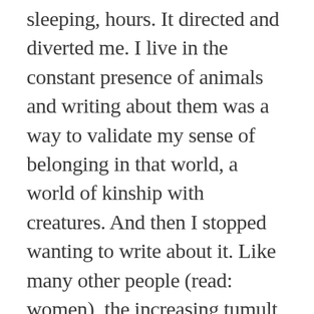sleeping, hours. It directed and diverted me. I live in the constant presence of animals and writing about them was a way to validate my sense of belonging in that world, a world of kinship with creatures. And then I stopped wanting to write about it. Like many other people (read: women), the increasing tumult of the last years has left me embedded in a place of uncomfortable irony: I live a reasonably secure and peaceful life and I also swim endless laps of anger, angst, and rage about world events and the rabid